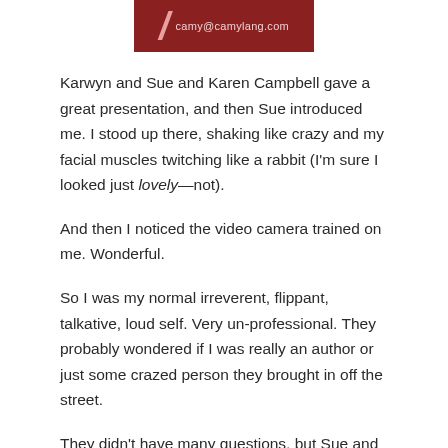[Figure (other): Red banner/logo with email address camy@camylang.com]
Karwyn and Sue and Karen Campbell gave a great presentation, and then Sue introduced me. I stood up there, shaking like crazy and my facial muscles twitching like a rabbit (I'm sure I looked just lovely—not).
And then I noticed the video camera trained on me. Wonderful.
So I was my normal irreverent, flippant, talkative, loud self. Very un-professional. They probably wondered if I was really an author or just some crazed person they brought in off the street.
They didn't have many questions, but Sue and Scott Bolinder